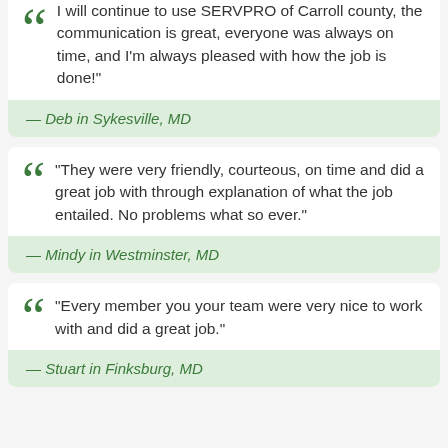"I will continue to use SERVPRO of Carroll county, the communication is great, everyone was always on time, and I'm always pleased with how the job is done!"
— Deb in Sykesville, MD
"They were very friendly, courteous, on time and did a great job with through explanation of what the job entailed. No problems what so ever."
— Mindy in Westminster, MD
"Every member you your team were very nice to work with and did a great job."
— Stuart in Finksburg, MD